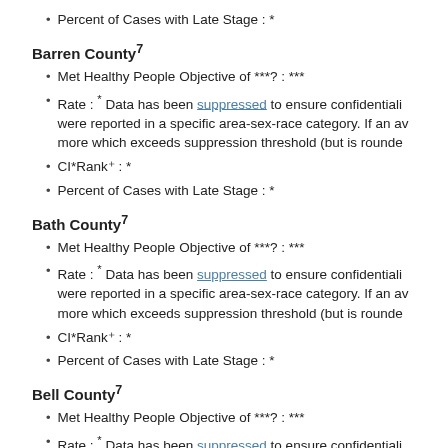Percent of Cases with Late Stage : *
Barren County⁷
Met Healthy People Objective of ***? : ***
Rate : * Data has been suppressed to ensure confidentiality were reported in a specific area-sex-race category. If an av more which exceeds suppression threshold (but is rounde
CI*Rankℹ : *
Percent of Cases with Late Stage : *
Bath County⁷
Met Healthy People Objective of ***? : ***
Rate : * Data has been suppressed to ensure confidentiality were reported in a specific area-sex-race category. If an av more which exceeds suppression threshold (but is rounde
CI*Rankℹ : *
Percent of Cases with Late Stage : *
Bell County⁷
Met Healthy People Objective of ***? : ***
Rate : * Data has been suppressed to ensure confidentiality